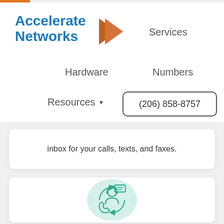[Figure (logo): Accelerate Networks logo with blue bold text and orange arrow/chevron shape]
Services
Hardware
Numbers
Resources ▾
(206) 858-8757
inbox for your calls, texts, and faxes.
[Figure (illustration): Customer support icon: person with headset and speech/message bubble, circular arrows, on a light teal/mint oval background]